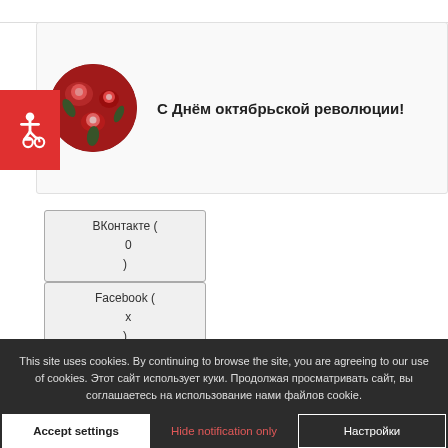[Figure (screenshot): Social media post card with circular avatar showing red floral pattern image, bold Cyrillic text: С Днём октябрьской революции!]
[Figure (illustration): Red accessibility icon (wheelchair symbol) on red background, positioned at left edge of post card]
ВКонтакте ( 0 )
Facebook ( x )
Обычные (0)
This site uses cookies. By continuing to browse the site, you are agreeing to our use of cookies. Этот сайт использует куки. Продолжая просматривать сайт, вы соглашаетесь на использование нами файлов cookie.
Accept settings
Hide notification only
Настройки